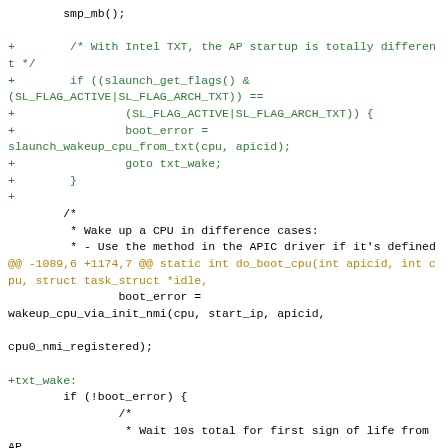Code diff showing kernel SMP CPU boot modifications with Intel TXT support and wakeup logic